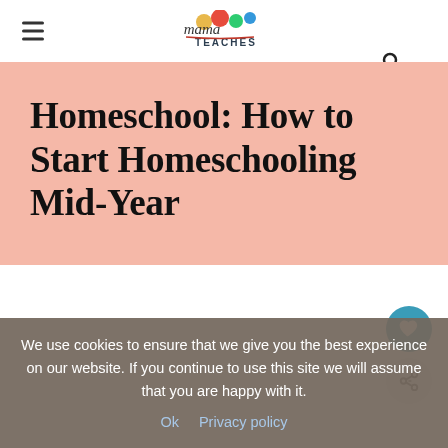Mama Teaches [logo]
Homeschool: How to Start Homeschooling Mid-Year
We use cookies to ensure that we give you the best experience on our website. If you continue to use this site we will assume that you are happy with it.
Ok   Privacy policy